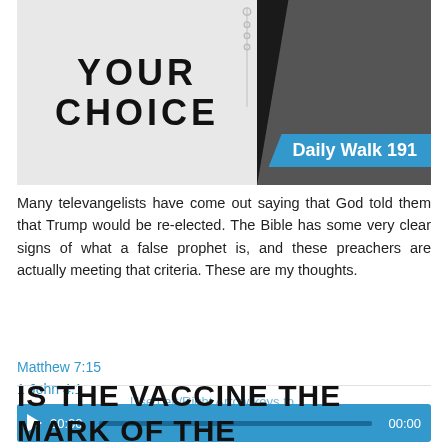[Figure (photo): Thumbnail image showing a lightbox sign reading YOUR CHOICE with a blue banner overlay saying Daily Walk 191, dark background with rosary beads]
Many televangelists have come out saying that God told them that Trump would be re-elected. The Bible has some very clear signs of what a false prophet is, and these preachers are actually meeting that criteria. These are my thoughts.
Matthew 7:15
1 John 4:1
Deuteronomy 18:15-22
[Figure (screenshot): Audio player widget with play button, time display 00:00, progress bar, and end time 00:00 on blue background]
IS THE VACCINE THE MARK OF THE